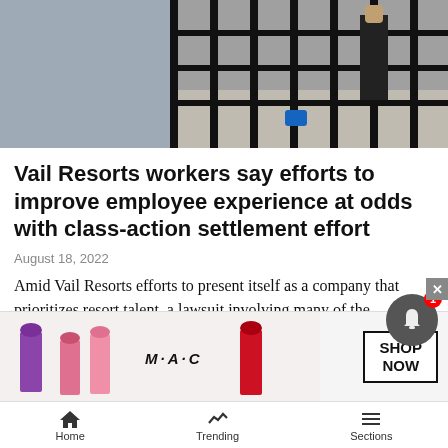[Figure (photo): People near a black metal fence, one wearing red pants, outdoors on a cobblestone area]
Vail Resorts workers say efforts to improve employee experience at odds with class-action settlement effort
August 18, 2022
Amid Vail Resorts efforts to present itself as a company that prioritizes resort talent, a lawsuit involving many of the company's employees isn't helping that end.
[Figure (photo): Skier on a snowy mountain slope with blue sky]
Vail Mountain, Beaver Creek announce opening dates for 2022-23 season, to limit
[Figure (photo): MAC cosmetics advertisement showing lipsticks in purple, pink, and red with SHOP NOW button]
Home   Trending   Sections